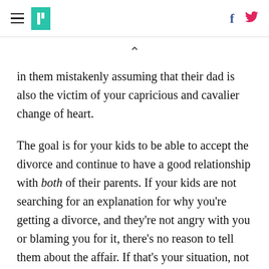[HuffPost navigation header with hamburger menu, logo, Facebook and Twitter icons]
in them mistakenly assuming that their dad is also the victim of your capricious and cavalier change of heart.
The goal is for your kids to be able to accept the divorce and continue to have a good relationship with both of their parents. If your kids are not searching for an explanation for why you're getting a divorce, and they're not angry with you or blaming you for it, there's no reason to tell them about the affair. If that's your situation, not telling your kids about the affair constitutes taking the high road. If, however, your kids are searching for answers, taking the high road